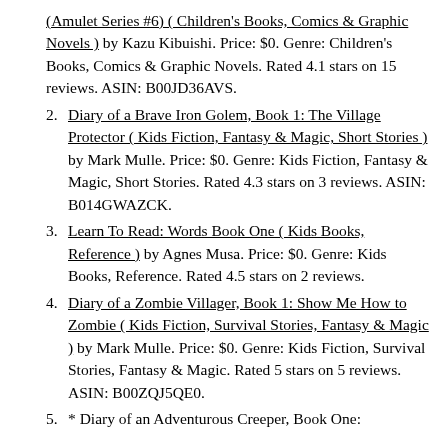(Amulet Series #6) ( Children's Books, Comics & Graphic Novels ) by Kazu Kibuishi. Price: $0. Genre: Children's Books, Comics & Graphic Novels. Rated 4.1 stars on 15 reviews. ASIN: B00JD36AVS.
2. Diary of a Brave Iron Golem, Book 1: The Village Protector ( Kids Fiction, Fantasy & Magic, Short Stories ) by Mark Mulle. Price: $0. Genre: Kids Fiction, Fantasy & Magic, Short Stories. Rated 4.3 stars on 3 reviews. ASIN: B014GWAZCK.
3. Learn To Read: Words Book One ( Kids Books, Reference ) by Agnes Musa. Price: $0. Genre: Kids Books, Reference. Rated 4.5 stars on 2 reviews.
4. Diary of a Zombie Villager, Book 1: Show Me How to Zombie ( Kids Fiction, Survival Stories, Fantasy & Magic ) by Mark Mulle. Price: $0. Genre: Kids Fiction, Survival Stories, Fantasy & Magic. Rated 5 stars on 5 reviews. ASIN: B00ZQJ5QE0.
5. * Diary of an Adventurous Creeper, Book One: